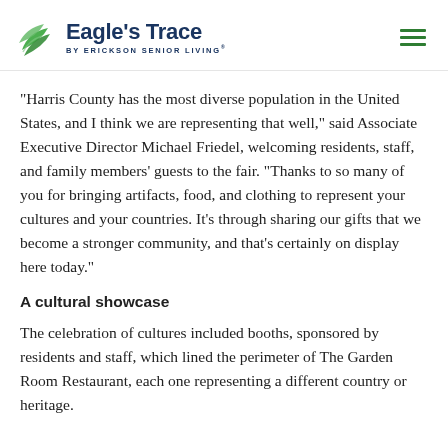Eagle's Trace BY ERICKSON SENIOR LIVING®
"Harris County has the most diverse population in the United States, and I think we are representing that well," said Associate Executive Director Michael Friedel, welcoming residents, staff, and family members' guests to the fair. "Thanks to so many of you for bringing artifacts, food, and clothing to represent your cultures and your countries. It's through sharing our gifts that we become a stronger community, and that's certainly on display here today."
A cultural showcase
The celebration of cultures included booths, sponsored by residents and staff, which lined the perimeter of The Garden Room Restaurant, each one representing a different country or heritage.